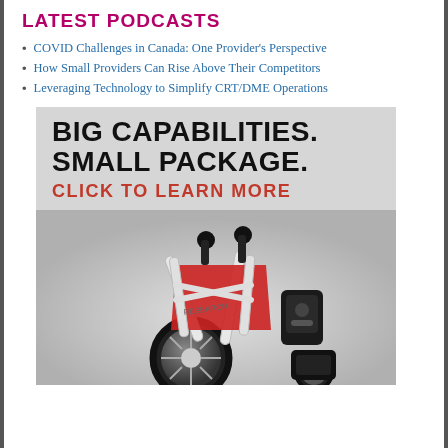LATEST PODCASTS
COVID Challenges in Canada: One Provider's Perspective
How Small Providers Can Rise Above Their Competitors
Leveraging Technology to Simplify CRT/DME Operations
[Figure (illustration): Advertisement banner for a foldable power wheelchair (Permobil or similar brand). Large bold black text reads 'BIG CAPABILITIES. SMALL PACKAGE.' followed by red uppercase text 'CLICK TO LEARN MORE'. Below is a photo of a compact folded power wheelchair with white frame, red seat, and black components including joystick and wheels, on a grey gradient background.]